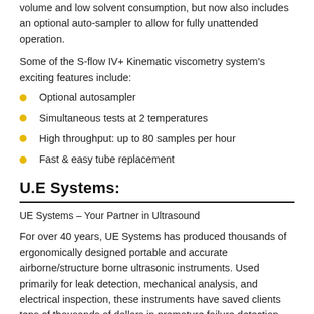volume and low solvent consumption, but now also includes an optional auto-sampler to allow for fully unattended operation.
Some of the S-flow IV+ Kinematic viscometry system's exciting features include:
Optional autosampler
Simultaneous tests at 2 temperatures
High throughput: up to 80 samples per hour
Fast & easy tube replacement
U.E Systems:
UE Systems – Your Partner in Ultrasound
For over 40 years, UE Systems has produced thousands of ergonomically designed portable and accurate airborne/structure borne ultrasonic instruments. Used primarily for leak detection, mechanical analysis, and electrical inspection, these instruments have saved clients tens of thousands of dollars in premature failure detection, elimination of downtime, increased productivity, and overall replacement costs. Ultrasound can help eliminate